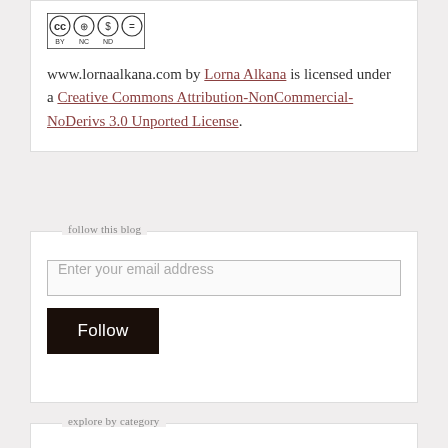[Figure (logo): Creative Commons BY NC ND license badge with four circular icons]
www.lornaalkana.com by Lorna Alkana is licensed under a Creative Commons Attribution-NonCommercial-NoDerivs 3.0 Unported License.
follow this blog
Enter your email address
Follow
explore by category